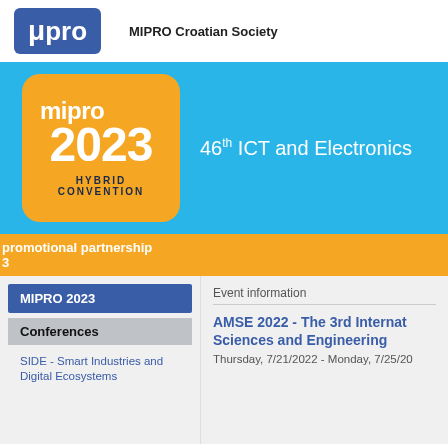[Figure (logo): MIPRO logo in blue rounded rectangle with white text]
MIPRO Croatian Society
[Figure (illustration): MIPRO 2023 Hybrid Convention banner on cyan background with orange rounded square logo showing 'mipro 2023 HYBRID CONVENTION' and text '46th ICT and Electronics']
promotional partnership
3
MIPRO 2023
Conferences
SIDE - Smart Industries and Digital Ecosystems
Event information
AMSE 2022 - The 3rd Internat Sciences and Engineering
Thursday, 7/21/2022 - Monday, 7/25/20